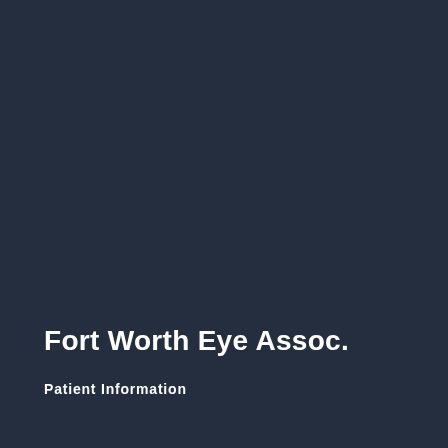Fort Worth Eye Assoc.
Patient Information